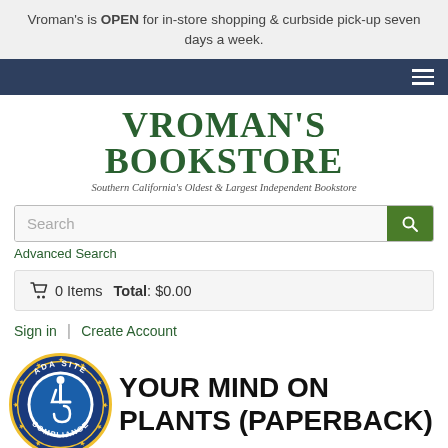Vroman's is OPEN for in-store shopping & curbside pick-up seven days a week.
Navigation bar with hamburger menu
[Figure (logo): Vroman's Bookstore logo — large serif green text 'VROMAN'S BOOKSTORE' with italic subtitle 'Southern California's Oldest & Largest Independent Bookstore']
Search
Advanced Search
0 Items  Total: $0.00
Sign in  |  Create Account
[Figure (logo): ADA Site Compliance badge — circular logo with blue background, wheelchair accessibility icon, gold star border, text 'ADA SITE COMPLIANCE']
YOUR MIND ON PLANTS (PAPERBACK)